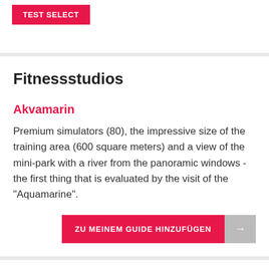TEST SELECT
Fitnessstudios
Akvamarin
Premium simulators (80), the impressive size of the training area (600 square meters) and a view of the mini-park with a river from the panoramic windows - the first thing that is evaluated by the visit of the "Aquamarine".
ZU MEINEM GUIDE HINZUFÜGEN
KRISTL